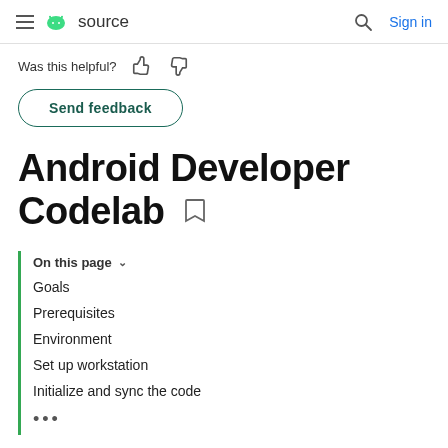source  Sign in
Was this helpful?
Send feedback
Android Developer Codelab
On this page
Goals
Prerequisites
Environment
Set up workstation
Initialize and sync the code
•••